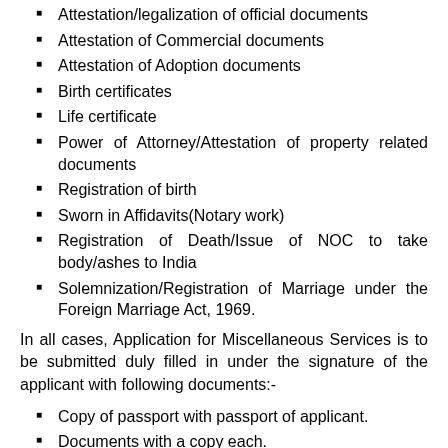Attestation/legalization of official documents
Attestation of Commercial documents
Attestation of Adoption documents
Birth certificates
Life certificate
Power of Attorney/Attestation of property related documents
Registration of birth
Sworn in Affidavits(Notary work)
Registration of Death/Issue of NOC to take body/ashes to India
Solemnization/Registration of Marriage under the Foreign Marriage Act, 1969.
In all cases, Application for Miscellaneous Services is to be submitted duly filled in under the signature of the applicant with following documents:-
Copy of passport with passport of applicant.
Documents with a copy each.